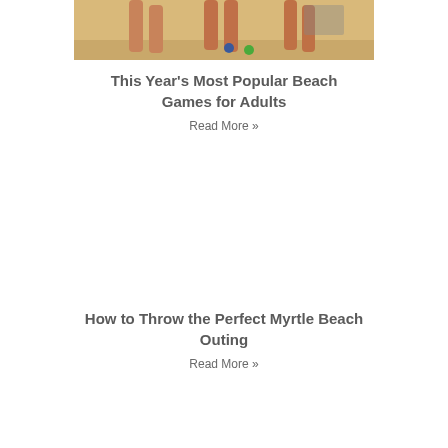[Figure (photo): People playing beach games on sand, viewed from waist down, shadows visible on sandy beach]
This Year's Most Popular Beach Games for Adults
Read More »
How to Throw the Perfect Myrtle Beach Outing
Read More »